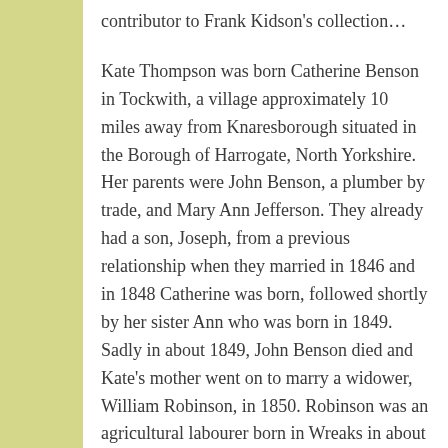contributor to Frank Kidson's collection…
Kate Thompson was born Catherine Benson in Tockwith, a village approximately 10 miles away from Knaresborough situated in the Borough of Harrogate, North Yorkshire. Her parents were John Benson, a plumber by trade, and Mary Ann Jefferson. They already had a son, Joseph, from a previous relationship when they married in 1846 and in 1848 Catherine was born, followed shortly by her sister Ann who was born in 1849. Sadly in about 1849, John Benson died and Kate's mother went on to marry a widower, William Robinson, in 1850. Robinson was an agricultural labourer born in Wreaks in about 1825 and he too had a son, James Robinson born in 1842, from his previous